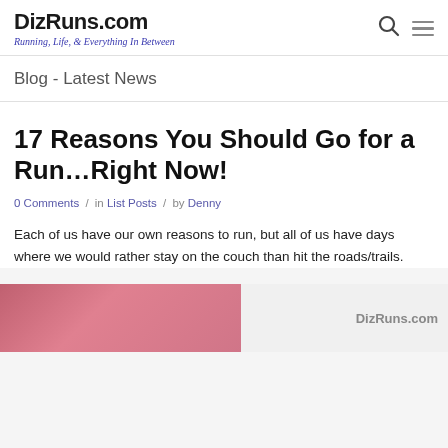DizRuns.com — Running, Life, & Everything In Between
Blog - Latest News
17 Reasons You Should Go for a Run…Right Now!
0 Comments / in List Posts / by Denny
Each of us have our own reasons to run, but all of us have days where we would rather stay on the couch than hit the roads/trails.
[Figure (photo): Photo of a person wearing pink/magenta clothing, with DizRuns.com watermark on the right side]